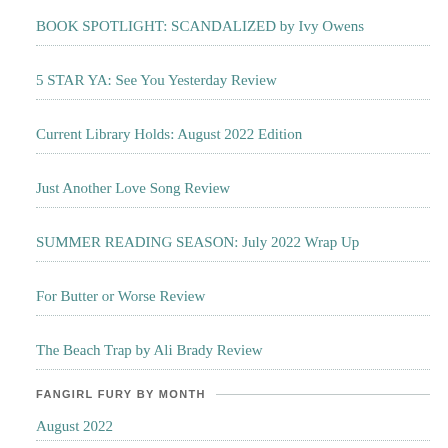BOOK SPOTLIGHT: SCANDALIZED by Ivy Owens
5 STAR YA: See You Yesterday Review
Current Library Holds: August 2022 Edition
Just Another Love Song Review
SUMMER READING SEASON: July 2022 Wrap Up
For Butter or Worse Review
The Beach Trap by Ali Brady Review
FANGIRL FURY BY MONTH
August 2022